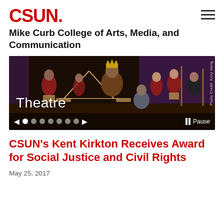CSUN.
Mike Curb College of Arts, Media, and Communication
[Figure (photo): Theatre performance scene with actors in ornate costumes on a darkly lit stage. Text overlay reads 'Theatre'. Slideshow navigation dots and Pause button visible at the bottom.]
CSUN's Kent Kirkton Receives Award for Social Justice and Civil Rights
May 25, 2017